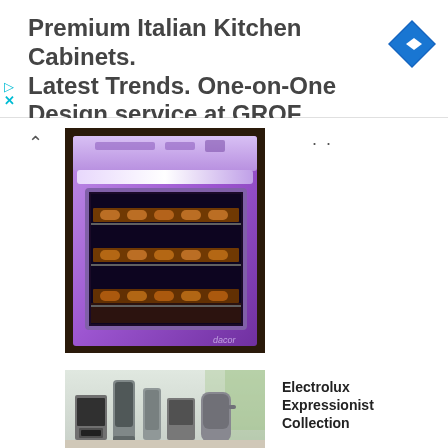[Figure (other): Advertisement banner for GROF Premium Italian Kitchen Cabinets with navigation arrow icon]
Premium Italian Kitchen Cabinets. Latest Trends. One-on-One Design service at GROF
[Figure (photo): Purple/lavender Dacor wall oven with glass door showing multiple racks of food baking inside]
[Figure (photo): Electrolux Expressionist Collection stainless steel small kitchen appliances including coffee maker, blender, and other items]
Electrolux Expressionist Collection